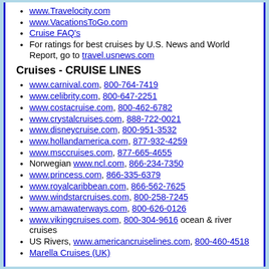www.Travelocity.com
www.VacationsToGo.com
Cruise FAQ's
For ratings for best cruises by U.S. News and World Report, go to travel.usnews.com
Cruises - CRUISE LINES
www.carnival.com, 800-764-7419
www.celibrity.com, 800-647-2251
www.costacruise.com, 800-462-6782
www.crystalcruises.com, 888-722-0021
www.disneycruise.com, 800-951-3532
www.hollandamerica.com, 877-932-4259
www.msccruises.com, 877-665-4655
Norwegian www.ncl.com, 866-234-7350
www.princess.com, 866-335-6379
www.royalcaribbean.com, 866-562-7625
www.windstarcruises.com, 800-258-7245
www.amawaterways.com, 800-626-0126
www.vikingcruises.com, 800-304-9616 ocean & river cruises
US Rivers, www.americancruiselines.com, 800-460-4518
Marella Cruises (UK)